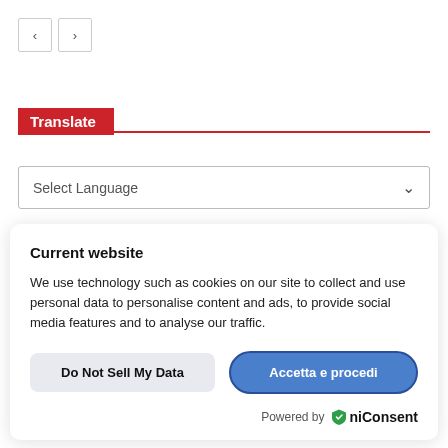[Figure (other): Navigation previous/next arrow buttons]
Translate
Select Language
Current website
We use technology such as cookies on our site to collect and use personal data to personalise content and ads, to provide social media features and to analyse our traffic.
Do Not Sell My Data
Accetta e procedi
Powered by OniConsent